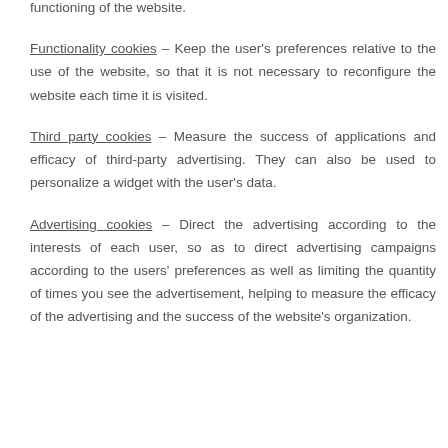functioning of the website.
Functionality cookies – Keep the user's preferences relative to the use of the website, so that it is not necessary to reconfigure the website each time it is visited.
Third party cookies – Measure the success of applications and efficacy of third-party advertising. They can also be used to personalize a widget with the user's data.
Advertising cookies – Direct the advertising according to the interests of each user, so as to direct advertising campaigns according to the users' preferences as well as limiting the quantity of times you see the advertisement, helping to measure the efficacy of the advertising and the success of the website's organization.